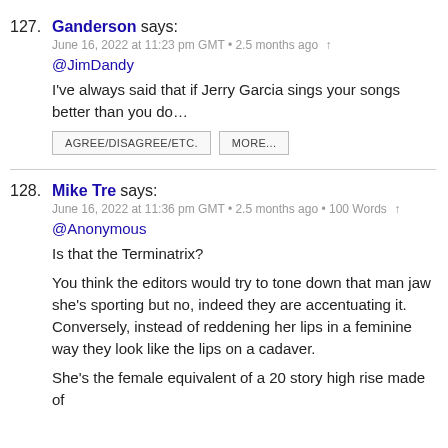127. Ganderson says: June 16, 2022 at 11:23 pm GMT • 2.5 months ago ↑ @JimDandy I've always said that if Jerry Garcia sings your songs better than you do… AGREE/DISAGREE/ETC. MORE...
128. Mike Tre says: June 16, 2022 at 11:36 pm GMT • 2.5 months ago • 100 Words ↑ @Anonymous Is that the Terminatrix? You think the editors would try to tone down that man jaw she's sporting but no, indeed they are accentuating it. Conversely, instead of reddening her lips in a feminine way they look like the lips on a cadaver. She's the female equivalent of a 20 story high rise made of ...